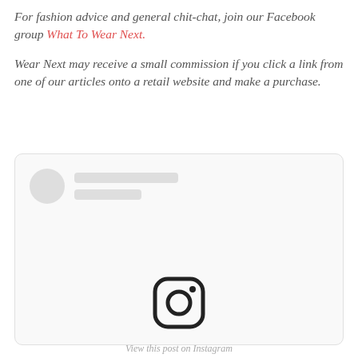For fashion advice and general chit-chat, join our Facebook group What To Wear Next.
Wear Next may receive a small commission if you click a link from one of our articles onto a retail website and make a purchase.
[Figure (screenshot): Embedded social media card placeholder with grey avatar circle, two grey placeholder text lines, and an Instagram logo icon at the bottom center.]